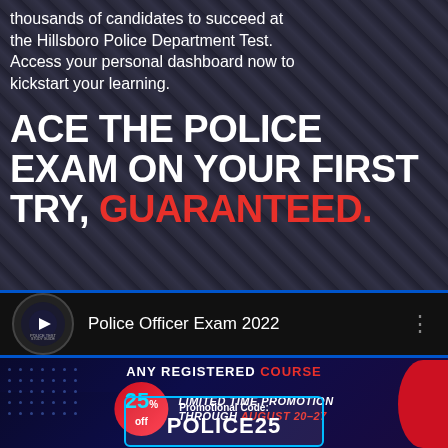thousands of candidates to succeed at the Hillsboro Police Department Test. Access your personal dashboard now to kickstart your learning.
ACE THE POLICE EXAM ON YOUR FIRST TRY, GUARANTEED.
[Figure (screenshot): YouTube-style video bar showing Police Officer Exam 2022 channel with logo and three-dot menu]
ANY REGISTERED COURSE
25% off LIMITED TIME PROMOTION THROUGH AUGUST 20-27
Promotional Code: POLICE25